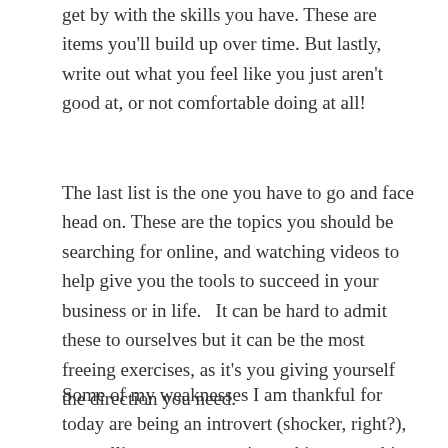get by with the skills you have. These are items you'll build up over time. But lastly, write out what you feel like you just aren't good at, or not comfortable doing at all!
The last list is the one you have to go and face head on. These are the topics you should be searching for online, and watching videos to help give you the tools to succeed in your business or in life.   It can be hard to admit these to ourselves but it can be the most freeing exercises, as it's you giving yourself the direction you need.
Some of my weaknesses I am thankful for today are being an introvert (shocker, right?), controlling my graze eating, taking everything personally when someone says